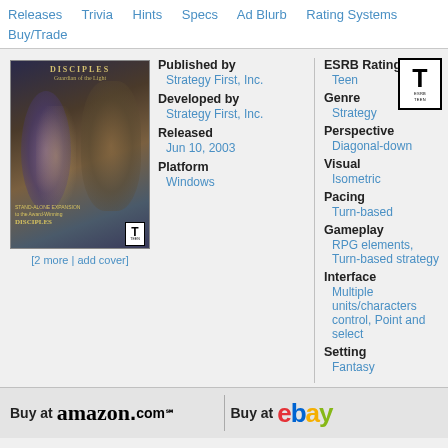Releases  Trivia  Hints  Specs  Ad Blurb  Rating Systems  Buy/Trade
[Figure (photo): Game cover art for Disciples II: Guardian of the Light showing fantasy characters]
[2 more | add cover]
| Published by | Strategy First, Inc. |
| Developed by | Strategy First, Inc. |
| Released | Jun 10, 2003 |
| Platform | Windows |
| ESRB Rating | Teen |
| Genre | Strategy |
| Perspective | Diagonal-down |
| Visual | Isometric |
| Pacing | Turn-based |
| Gameplay | RPG elements, Turn-based strategy |
| Interface | Multiple units/characters control, Point and select |
| Setting | Fantasy |
[Figure (logo): ESRB Teen rating badge]
Buy at amazon.com
Buy at ebay